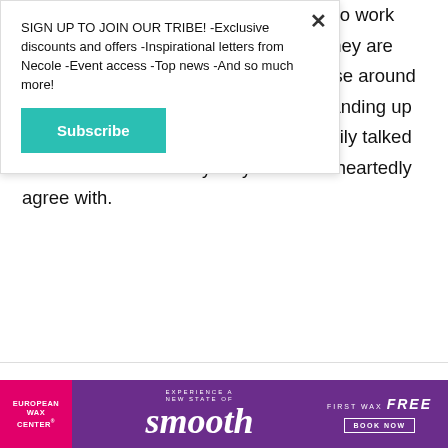SIGN UP TO JOIN OUR TRIBE! -Exclusive discounts and offers -Inspirational letters from Necole -Event access -Top news -And so much more!
Subscribe
and selfless attitude, Pisces are great to work with because they are very likeable. They are creative spirits, and easily inspires those around them. On the flip side, Pisces fail at standing up for themselves and are sometimes easily talked into situations that they may not wholeheartedly agree with.
[Figure (screenshot): European Wax Center advertisement banner with pink, purple background showing 'smooth' text and 'FIRST WAX free BOOK NOW' offer]